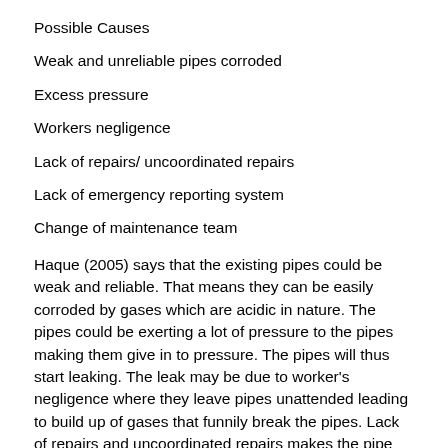Possible Causes
Weak and unreliable pipes corroded
Excess pressure
Workers negligence
Lack of repairs/ uncoordinated repairs
Lack of emergency reporting system
Change of maintenance team
Haque (2005) says that the existing pipes could be weak and reliable. That means they can be easily corroded by gases which are acidic in nature. The pipes could be exerting a lot of pressure to the pipes making them give in to pressure. The pipes will thus start leaking. The leak may be due to worker's negligence where they leave pipes unattended leading to build up of gases that funnily break the pipes. Lack of repairs and uncoordinated repairs makes the pipe culpable to who corrosion and poor